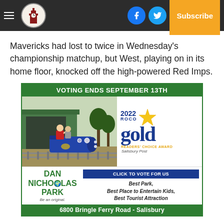Salisbury Post — Navigation header with hamburger menu, logo, Facebook, Twitter social buttons, and Subscribe button
Mavericks had lost to twice in Wednesday's championship matchup, but West, playing on in its home floor, knocked off the high-powered Red Imps.
[Figure (infographic): Advertisement for Dan Nicholas Park. Header: 'VOTING ENDS SEPTEMBER 13TH'. Shows photo of mini train with passengers. Right side shows '2022 ROCO gold Readers Choice Award Salisbury Post' logo with yellow star. Bottom left: 'DAN NICHOLAS PARK - Be an original.' Bottom right: Blue button 'CLICK TO VOTE FOR US' followed by 'Best Park, Best Place to Entertain Kids, Best Tourist Attraction'. Footer bar: '6800 Bringle Ferry Road - Salisbury']